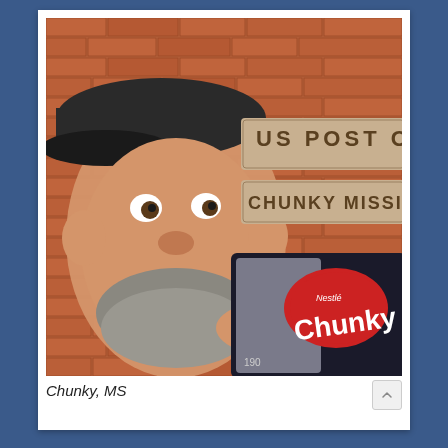[Figure (photo): A man wearing a baseball cap makes a surprised/excited face in front of a US Post Office brick wall sign reading 'US POST OFFICE / CHUNKY MISSISSIPPI' holding a bag of Nestle Chunky chocolate candy]
Chunky, MS